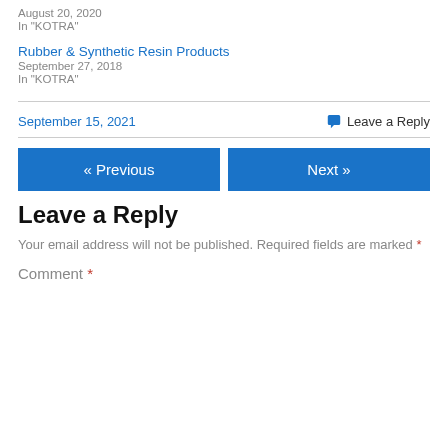August 20, 2020
In "KOTRA"
Rubber & Synthetic Resin Products
September 27, 2018
In "KOTRA"
September 15, 2021   Leave a Reply
« Previous   Next »
Leave a Reply
Your email address will not be published. Required fields are marked *
Comment *